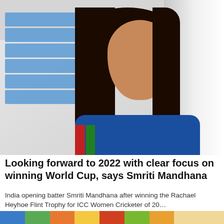[Figure (photo): Photo of Smriti Mandhana, India women's cricket opening batter, speaking in an interview setting. She has long dark hair and is wearing a blue sports jersey. Background shows blue window blinds on the left and a white/grey background on the right.]
Looking forward to 2022 with clear focus on winning World Cup, says Smriti Mandhana
India opening batter Smriti Mandhana after winning the Rachael Heyhoe Flint Trophy for ICC Women Cricketer of 20…
AustralianNews
[Figure (photo): Partial bottom strip of a food/produce photo showing colorful fruits and vegetables including what appears to be a bowl, tomatoes, oranges, and other produce items.]